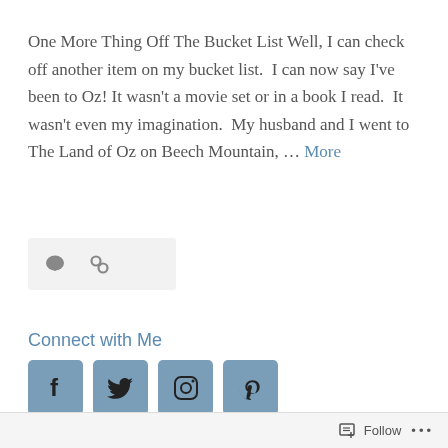One More Thing Off The Bucket List Well, I can check off another item on my bucket list. I can now say I've been to Oz! It wasn't a movie set or in a book I read. It wasn't even my imagination. My husband and I went to The Land of Oz on Beech Mountain, … More
[Figure (infographic): Small icon bar with comment bubble and link icons on a light gray background]
Connect with Me
[Figure (infographic): Four social media icons: Facebook, Twitter, Instagram, Pinterest on steel-blue rounded square backgrounds]
Follow ...